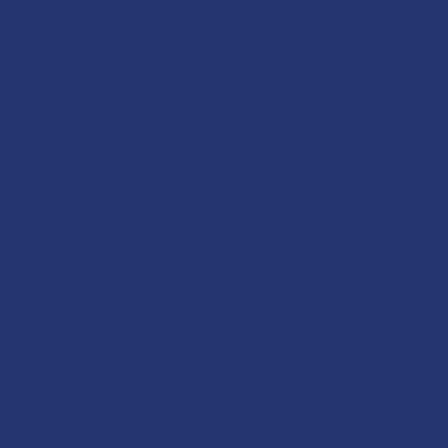[Figure (screenshot): Left panel: dark navy blue sidebar panel with a vertical divider/border on the right edge]
[Figure (screenshot): Top right: game entry thumbnail with audio waveform visualization for Brett Hull Hockey]
Brett Hull Hockey
Nintendo SNES (SPC)
SNES Burn-in Test Cart
Nintendo SNES (SPC)